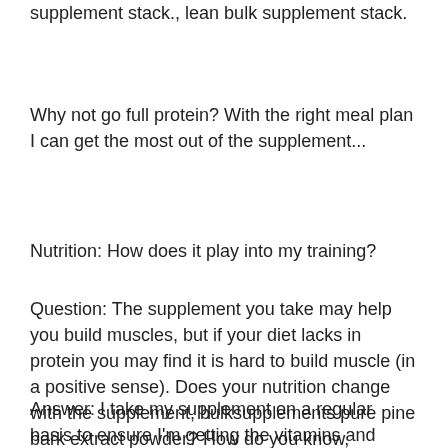supplement stack., lean bulk supplement stack.
Why not go full protein? With the right meal plan I can get the most out of the supplement...
Nutrition: How does it play into my training?
Question: The supplement you take may help you build muscles, but if your diet lacks in protein you may find it is hard to build muscle (in a positive sense). Does your nutrition change with the supplement, bulksupplements pure pine bark extract powder? How do you know, bulksupplements pure nac?
Answer: I take my supplement on a regular basis to ensure I'm getting the vitamins and